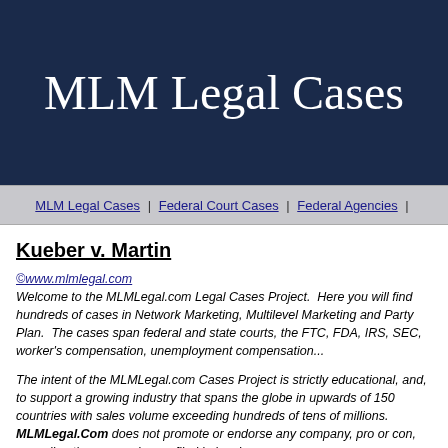MLM Legal Cases
MLM Legal Cases | Federal Court Cases | Federal Agencies |
Kueber v. Martin
©www.mlmlegal.com
Welcome to the MLMLegal.com Legal Cases Project. Here you will find hundreds of cases in Network Marketing, Multilevel Marketing and Party Plan. The cases span federal and state courts, the FTC, FDA, IRS, SEC, worker's compensation, unemployment compensation...
The intent of the MLMLegal.com Cases Project is strictly educational, and, to support a growing industry that spans the globe in upwards of 150 countries with sales volume exceeding hundreds of tens of millions. MLMLegal.Com does not promote or endorse any company, pro or con, regarding the companies profiled in legal cases.
Jeffrey A. Babener, principal attorney in the Portland, Oregon law firm, Ba...